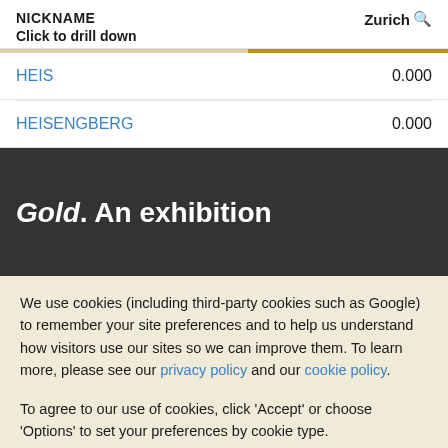| NICKNAME / Click to drill down | Zurich |
| --- | --- |
| HEIS | 0.000 |
| HEISENGBERG | 0.000 |
Gold. An exhibition
We use cookies (including third-party cookies such as Google) to remember your site preferences and to help us understand how visitors use our sites so we can improve them. To learn more, please see our privacy policy and our cookie policy.
To agree to our use of cookies, click 'Accept' or choose 'Options' to set your preferences by cookie type.